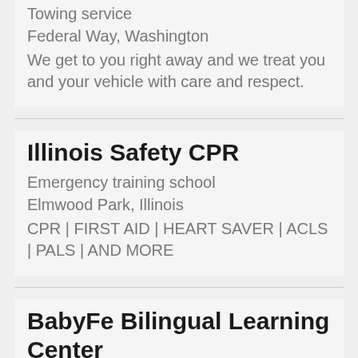Towing service
Federal Way, Washington
We get to you right away and we treat you and your vehicle with care and respect.
Illinois Safety CPR
Emergency training school
Elmwood Park, Illinois
CPR | FIRST AID | HEART SAVER | ACLS | PALS | AND MORE
BabyFe Bilingual Learning Center
Learning center